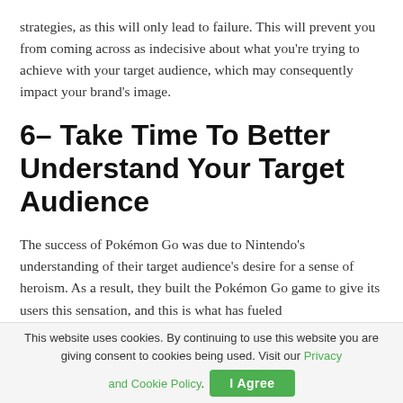strategies, as this will only lead to failure. This will prevent you from coming across as indecisive about what you're trying to achieve with your target audience, which may consequently impact your brand's image.
6- Take Time To Better Understand Your Target Audience
The success of Pokémon Go was due to Nintendo's understanding of their target audience's desire for a sense of heroism. As a result, they built the Pokémon Go game to give its users this sensation, and this is what has fueled
This website uses cookies. By continuing to use this website you are giving consent to cookies being used. Visit our Privacy and Cookie Policy. I Agree